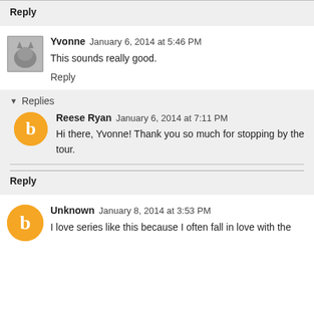Reply
Yvonne  January 6, 2014 at 5:46 PM
This sounds really good.
Reply
Replies
Reese Ryan  January 6, 2014 at 7:11 PM
Hi there, Yvonne! Thank you so much for stopping by the tour.
Reply
Unknown  January 8, 2014 at 3:53 PM
I love series like this because I often fall in love with the